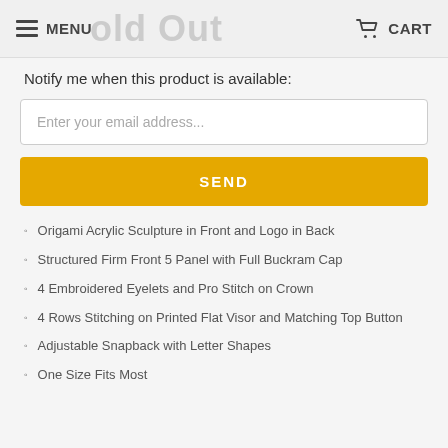MENU  Sold Out  CART
Notify me when this product is available:
Enter your email address...
SEND
Origami Acrylic Sculpture in Front and Logo in Back
Structured Firm Front 5 Panel with Full Buckram Cap
4 Embroidered Eyelets and Pro Stitch on Crown
4 Rows Stitching on Printed Flat Visor and Matching Top Button
Adjustable Snapback with Letter Shapes
One Size Fits Most